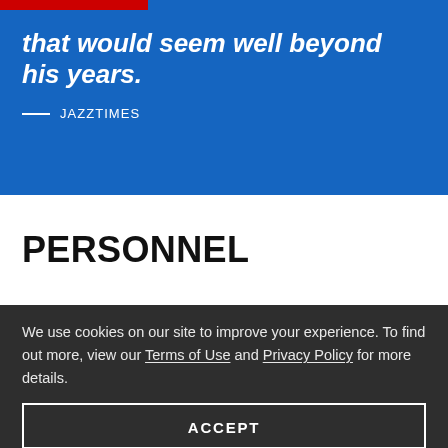that would seem well beyond his years.
— JAZZTIMES
PERSONNEL
We use cookies on our site to improve your experience. To find out more, view our Terms of Use and Privacy Policy for more details.
ACCEPT